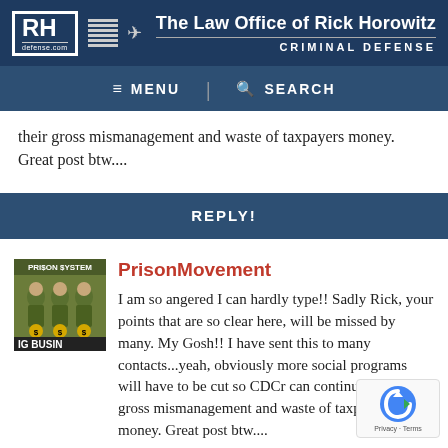The Law Office of Rick Horowitz | CRIMINAL DEFENSE | defense.com
their gross mismanagement and waste of taxpayers money. Great post btw....
REPLY!
[Figure (illustration): Prison System cartoon image with figures labeled 'Big Business']
PrisonMovement
I am so angered I can hardly type!! Sadly Rick, your points that are so clear here, will be missed by many. My Gosh!! I have sent this to many contacts...yeah, obviously more social programs will have to be cut so CDCr can continue with their gross mismanagement and waste of taxpayers money. Great post btw....